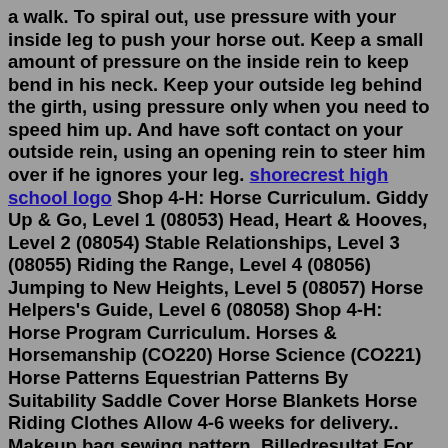a walk. To spiral out, use pressure with your inside leg to push your horse out. Keep a small amount of pressure on the inside rein to keep bend in his neck. Keep your outside leg behind the girth, using pressure only when you need to speed him up. And have soft contact on your outside rein, using an opening rein to steer him over if he ignores your leg. shorecrest high school logo Shop 4-H: Horse Curriculum. Giddy Up & Go, Level 1 (08053) Head, Heart & Hooves, Level 2 (08054) Stable Relationships, Level 3 (08055) Riding the Range, Level 4 (08056) Jumping to New Heights, Level 5 (08057) Horse Helpers's Guide, Level 6 (08058) Shop 4-H: Horse Program Curriculum. Horses & Horsemanship (CO220) Horse Science (CO221) Horse Patterns Equestrian Patterns By Suitability Saddle Cover Horse Blankets Horse Riding Clothes Allow 4-6 weeks for delivery.. Makeup bag sewing pattern. Billedresultat For English Saddle Pad Sewing Pattern Sewing Patterns Saddle Cover Bag Cover Pin On Secret. Then since I made the saddle flaps longer I had to do the same for